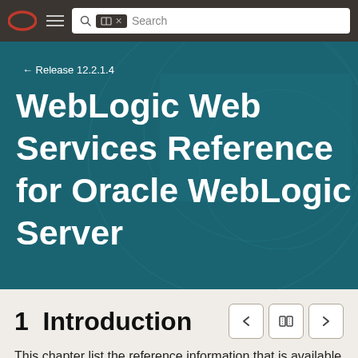Oracle WebLogic Web Services Reference — Release 12.2.1.4 navigation bar
[Figure (screenshot): Oracle documentation page header with Oracle logo, hamburger menu, search bar with open book icon and X button showing 'Search' placeholder text on dark brown/charcoal navigation bar]
WebLogic Web Services Reference for Oracle WebLogic Server
← Release 12.2.1.4
1  Introduction
This chapter list the reference information that is available to software developers who